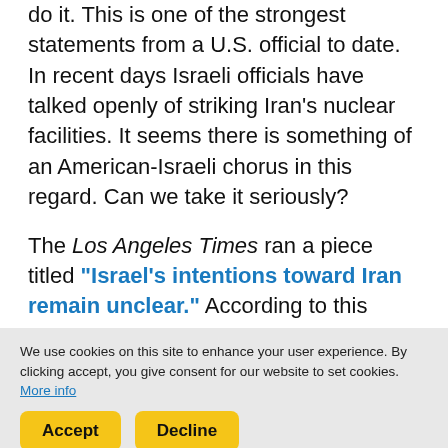do it. This is one of the strongest statements from a U.S. official to date. In recent days Israeli officials have talked openly of striking Iran's nuclear facilities. It seems there is something of an American-Israeli chorus in this regard. Can we take it seriously?
The Los Angeles Times ran a piece titled "Israel's intentions toward Iran remain unclear." According to this article, recent Israeli threats may be "a bluff to spur tougher sanctions." Observing the statements of U.S. and Israeli officials, this seems probable. If you are planning a preemptive attack there is no point discussing it publicly. But if your strategy is to compel other nations to carry out sanctions, trusting they are
We use cookies on this site to enhance your user experience. By clicking accept, you give consent for our website to set cookies. More info